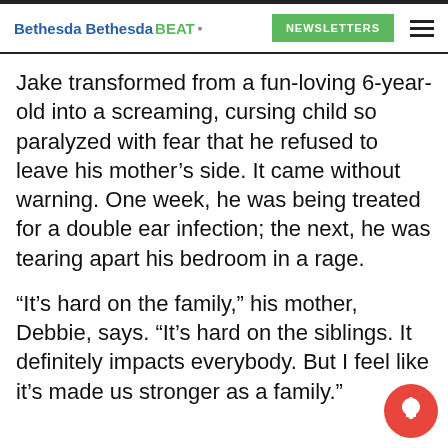Bethesda BethesdaBEAT | NEWSLETTERS
Jake transformed from a fun-loving 6-year-old into a screaming, cursing child so paralyzed with fear that he refused to leave his mother’s side. It came without warning. One week, he was being treated for a double ear infection; the next, he was tearing apart his bedroom in a rage.
“It’s hard on the family,” his mother, Debbie, says. “It’s hard on the siblings. It definitely impacts everybody. But I feel like it’s made us stronger as a family.”